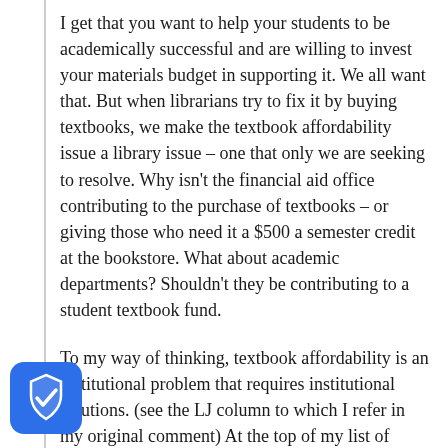I get that you want to help your students to be academically successful and are willing to invest your materials budget in supporting it. We all want that. But when librarians try to fix it by buying textbooks, we make the textbook affordability issue a library issue – one that only we are seeking to resolve. Why isn't the financial aid office contributing to the purchase of textbooks – or giving those who need it a $500 a semester credit at the bookstore. What about academic departments? Shouldn't they be contributing to a student textbook fund.
To my way of thinking, textbook affordability is an institutional problem that requires institutional solutions. (see the LJ column to which I refer in my original comment) At the top of my list of institutional strategies is a commitment from the president and provost making textbook affordability an institutional priority – and encouraging all faculty to consider the costs of learning
[Figure (illustration): Shield icon with checkmark, blue rounded square shape in bottom-left corner of page]